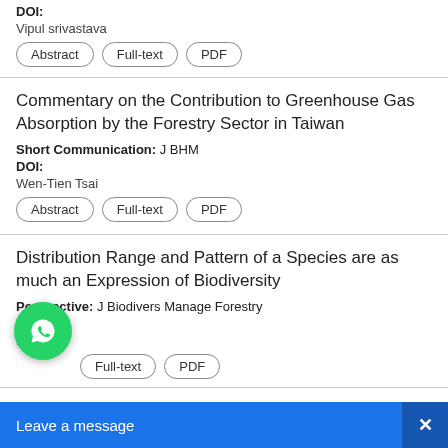DOI:
Vipul srivastava
Abstract  Full-text  PDF
Commentary on the Contribution to Greenhouse Gas Absorption by the Forestry Sector in Taiwan
Short Communication: J BHM
DOI:
Wen-Tien Tsai
Abstract  Full-text  PDF
Distribution Range and Pattern of a Species are as much an Expression of Biodiversity
Perspective: J Biodivers Manage Forestry
DOI:
Margaret
Full-text  PDF
Wildfire Suppression Exper... Service